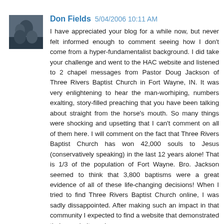[Figure (photo): Small avatar photo of Don Fields, showing two people, dark background]
Don Fields 5/04/2006 10:11 AM
I have appreciated your blog for a while now, but never felt informed enough to comment seeing how I don't come from a hyper-fundamentalist background. I did take your challenge and went to the HAC website and listened to 2 chapel messages from Pastor Doug Jackson of Three Rivers Baptist Church in Fort Wayne, IN. It was very enlightening to hear the man-worhiping, numbers exalting, story-filled preaching that you have been talking about straight from the horse's mouth. So many things were shocking and upsetting that I can't comment on all of them here. I will comment on the fact that Three Rivers Baptist Church has won 42,000 souls to Jesus (conservatively speaking) in the last 12 years alone! That is 1/3 of the population of Fort Wayne. Bro. Jackson seemed to think that 3,800 baptisms were a great evidence of all of these life-changing decisions! When I tried to find Three Rivers Baptist Church online, I was sadly dissappointed. After making such an impact in that community I expected to find a website that demonstrated their popularity and success